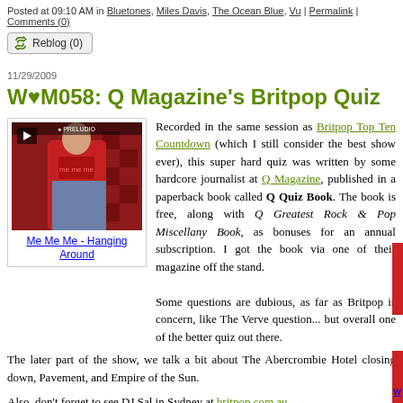Posted at 09:10 AM in Bluetones, Miles Davis, The Ocean Blue, Vu | Permalink | Comments (0)
Reblog (0)
11/29/2009
W♥M058: Q Magazine's Britpop Quiz
[Figure (photo): Video thumbnail of a woman in a red top, with a play button overlay. Caption: Me Me Me - Hanging Around]
Recorded in the same session as Britpop Top Ten Countdown (which I still consider the best show ever), this super hard quiz was written by some hardcore journalist at Q Magazine, published in a paperback book called Q Quiz Book. The book is free, along with Q Greatest Rock & Pop Miscellany Book, as bonuses for an annual subscription. I got the book via one of their magazine off the stand.

Some questions are dubious, as far as Britpop is concern, like The Verve question... but overall one of the better quiz out there.
The later part of the show, we talk a bit about The Abercrombie Hotel closing down, Pavement, and Empire of the Sun.
Also, don't forget to see DJ Sal in Sydney at britpop.com.au.
Below are the questions and answers.